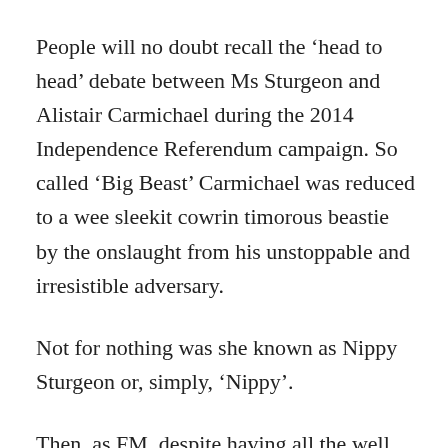People will no doubt recall the 'head to head' debate between Ms Sturgeon and Alistair Carmichael during the 2014 Independence Referendum campaign. So called 'Big Beast' Carmichael was reduced to a wee sleekit cowrin timorous beastie by the onslaught from his unstoppable and irresistible adversary.
Not for nothing was she known as Nippy Sturgeon or, simply, 'Nippy'.
Then, as FM, despite having all the well documented advantages of a huge membership and overwhelming parliamentary representation, Nicola Sturgeon:
Specifically stated that Independence was not in the